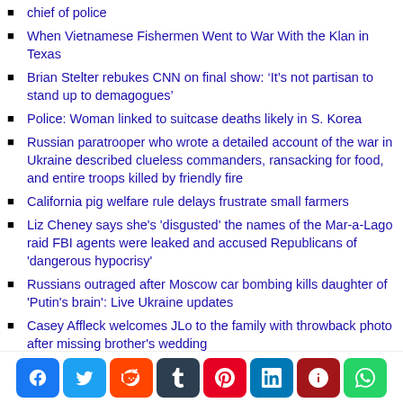chief of police
When Vietnamese Fishermen Went to War With the Klan in Texas
Brian Stelter rebukes CNN on final show: ‘It’s not partisan to stand up to demagogues’
Police: Woman linked to suitcase deaths likely in S. Korea
Russian paratrooper who wrote a detailed account of the war in Ukraine described clueless commanders, ransacking for food, and entire troops killed by friendly fire
California pig welfare rule delays frustrate small farmers
Liz Cheney says she's 'disgusted' the names of the Mar-a-Lago raid FBI agents were leaked and accused Republicans of 'dangerous hypocrisy'
Russians outraged after Moscow car bombing kills daughter of 'Putin's brain': Live Ukraine updates
Casey Affleck welcomes JLo to the family with throwback photo after missing brother's wedding
Dad of injured Utah Little Leaguer hopeful of full recovery